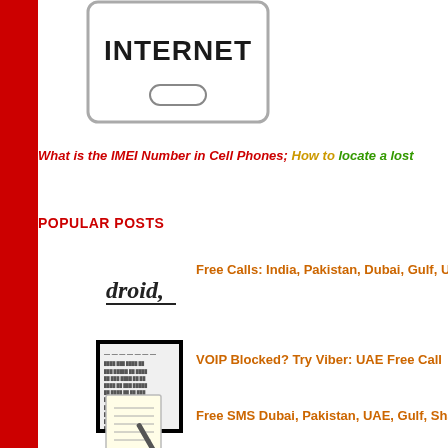[Figure (illustration): A smartphone/tablet-style device displaying the word INTERNET in bold black text with a rounded rectangle home button below it, shown as a line-art outline illustration.]
What is the IMEI Number in Cell Phones; How to locate a lost
POPULAR POSTS
[Figure (logo): Stylized italic text logo reading 'droid,' in dark serif/handwritten style with an underline]
Free Calls: India, Pakistan, Dubai, Gulf, UAE, USA,
[Figure (screenshot): A screenshot of a document or webpage with text lines, framed in a thick black border]
VOIP Blocked? Try Viber: UAE Free Call
[Figure (illustration): An illustration of a hand writing on a notepad/letter with a pen]
Free SMS Dubai, Pakistan, UAE, Gulf, Sharjah